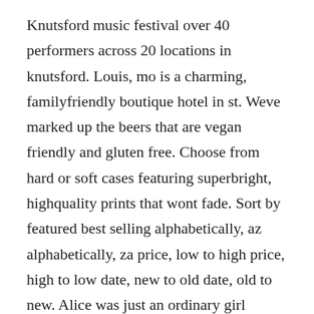Knutsford music festival over 40 performers across 20 locations in knutsford. Louis, mo is a charming, familyfriendly boutique hotel in st. Weve marked up the beers that are vegan friendly and gluten free. Choose from hard or soft cases featuring superbright, highquality prints that wont fade. Sort by featured best selling alphabetically, az alphabetically, za price, low to high price, high to low date, new to old date, old to new. Alice was just an ordinary girl imaginative and curious and thirsting for adventure.